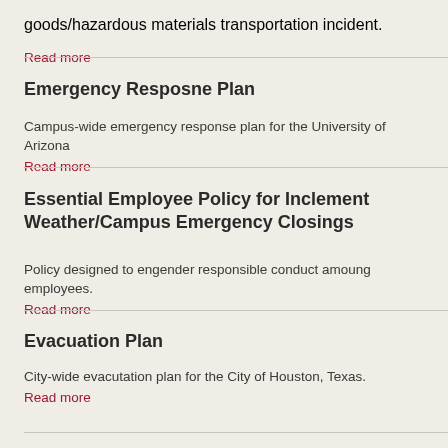goods/hazardous materials transportation incident.
Read more
Emergency Resposne Plan
Campus-wide emergency response plan for the University of Arizona
Read more
Essential Employee Policy for Inclement Weather/Campus Emergency Closings
Policy designed to engender responsible conduct amoung employees.
Read more
Evacuation Plan
City-wide evacutation plan for the City of Houston, Texas.
Read more